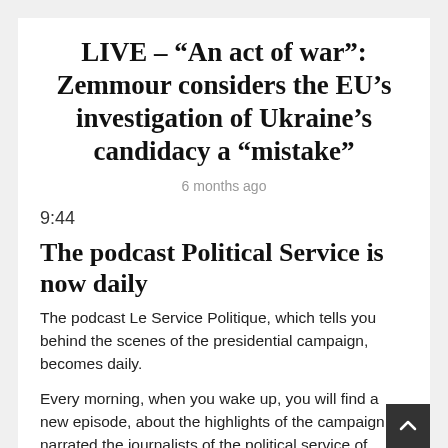LIVE – “An act of war”: Zemmour considers the EU’s investigation of Ukraine’s candidacy a “mistake”
6 months ago
9:44
The podcast Political Service is now daily
The podcast Le Service Politique, which tells you behind the scenes of the presidential campaign, becomes daily.
Every morning, when you wake up, you will find a new episode, about the highlights of the campaign, narrated the journalists of the political service of BFMTV.